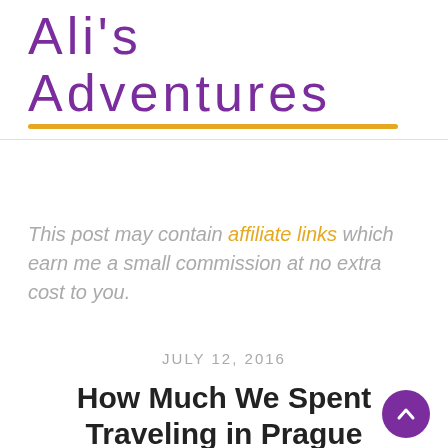Ali's Adventures
This post may contain affiliate links which earn me a small commission at no extra cost to you.
JULY 12, 2016
How Much We Spent Traveling in Prague